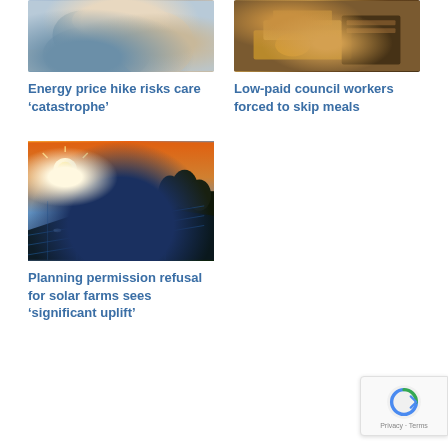[Figure (photo): Caregiver holding hands with elderly patient in home care setting]
Energy price hike risks care ‘catastrophe’
[Figure (photo): Person holding financial cards and folders on a wooden desk]
Low-paid council workers forced to skip meals
[Figure (photo): Solar panels in a field at sunset with golden sky and trees in the background]
Planning permission refusal for solar farms sees ‘significant uplift’